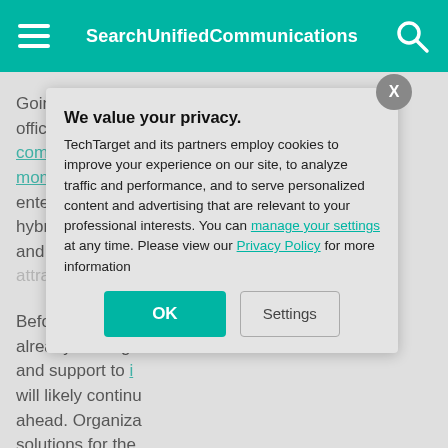SearchUnifiedCommunications
Going forward, as employees return to the office, it's clear they must have the ability to communicate from anywhere on a moment's notice. Many experts also expect enterprises to permanently embrace a hybrid work model, with a mix of in-office and remote employees. The technology attra
Before the COV already shifting t and support to i will likely contin ahead. Organiza solutions for the that only a selec investing in on-p adequate suppo
We value your privacy.
TechTarget and its partners employ cookies to improve your experience on our site, to analyze traffic and performance, and to serve personalized content and advertising that are relevant to your professional interests. You can manage your settings at any time. Please view our Privacy Policy for more information